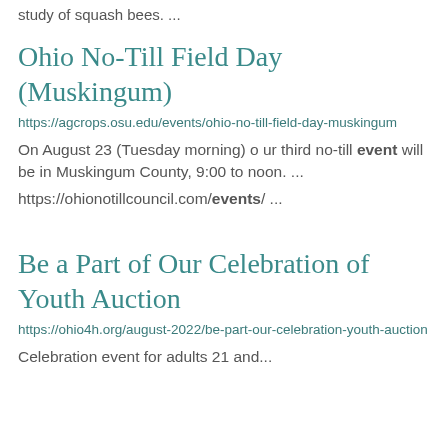study of squash bees. ...
Ohio No-Till Field Day (Muskingum)
https://agcrops.osu.edu/events/ohio-no-till-field-day-muskingum
On August 23 (Tuesday morning) o ur third no-till event will be in Muskingum County, 9:00 to noon. ...
https://ohionotillcouncil.com/events/ ...
Be a Part of Our Celebration of Youth Auction
https://ohio4h.org/august-2022/be-part-our-celebration-youth-auction
Celebration event for adults 21 and...